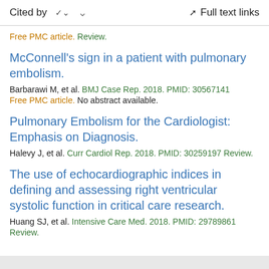Cited by   ∨   Full text links
Free PMC article. Review.
McConnell's sign in a patient with pulmonary embolism.
Barbarawi M, et al. BMJ Case Rep. 2018. PMID: 30567141
Free PMC article. No abstract available.
Pulmonary Embolism for the Cardiologist: Emphasis on Diagnosis.
Halevy J, et al. Curr Cardiol Rep. 2018. PMID: 30259197 Review.
The use of echocardiographic indices in defining and assessing right ventricular systolic function in critical care research.
Huang SJ, et al. Intensive Care Med. 2018. PMID: 29789861
Review.